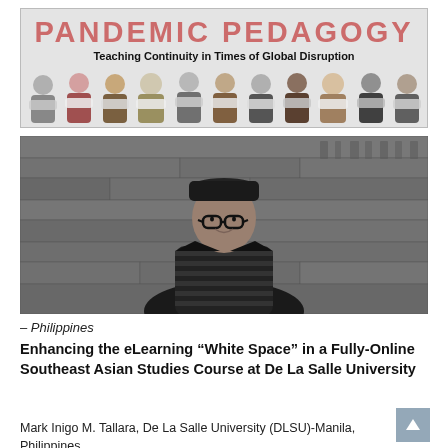[Figure (illustration): Pandemic Pedagogy banner with title text 'PANDEMIC PEDAGOGY' in pink/rose letters, subtitle 'Teaching Continuity in Times of Global Disruption' in bold black, and illustrated diverse people wearing face masks across the bottom of the banner on a light gray background.]
[Figure (photo): Black and white photograph of a young man wearing glasses and a beanie hat, smiling, wearing a striped polo shirt, standing in front of a stone wall with carved relief sculptures (appears to be an ancient temple setting).]
– Philippines
Enhancing the eLearning “White Space” in a Fully-Online Southeast Asian Studies Course at De La Salle University
Mark Inigo M. Tallara, De La Salle University (DLSU)-Manila, Philippines